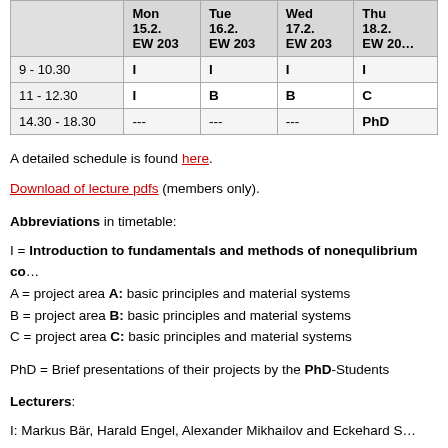|  | Mon
15.2.
EW 203 | Tue
16.2.
EW 203 | Wed
17.2.
EW 203 | Thu
18.2.
EW 20… |
| --- | --- | --- | --- | --- |
| 9 - 10.30 | I | I | I | I |
| 11 - 12.30 | I | B | B | C |
| 14.30 - 18.30 | --- | --- | --- | PhD |
A detailed schedule is found here.
Download of lecture pdfs (members only).
Abbreviations in timetable:
I  = Introduction to fundamentals and methods of nonequlibrium co…
A  = project area A: basic principles and material systems
B  = project area B: basic principles and material systems
C  = project area C: basic principles and material systems
PhD = Brief presentations of their projects by the PhD-Students
Lecturers:
I:  Markus Bär, Harald Engel, Alexander Mikhailov and Eckehard S…
A:  Tobias Brandes and Andreas Knorr